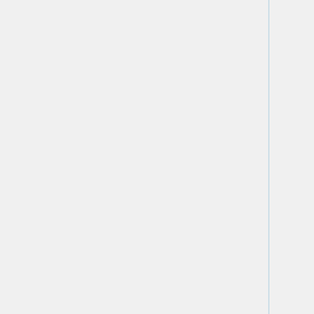| Feature | Status |
| --- | --- |
|  | WIP=orange | Untested=yellow | N/A=lightgray | yellow }}" | N/A |
| Input |  |
| Trackpoint | OK=lime | TODO=red | No=red | WIP=orange | Untested=yellow | N/A=lightgray | yellow }}" | N/A |
| Touchpad | OK=lime | TODO=red | No=red | WIP=orange | Untested=yellow | N/A=lightgray | yellow }}" | N/A |
| Fn Hotkeys | OK=lime | TODO=red | No=red | WIP=orange |